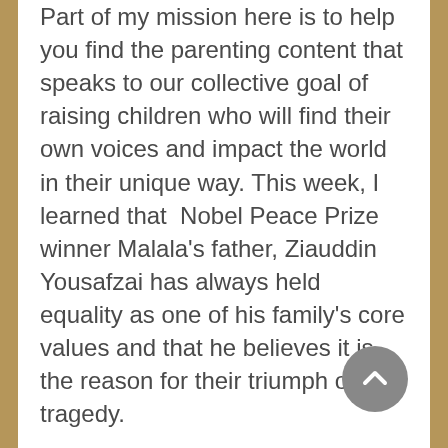Part of my mission here is to help you find the parenting content that speaks to our collective goal of raising children who will find their own voices and impact the world in their unique way. This week, I learned that Nobel Peace Prize winner Malala's father, Ziauddin Yousafzai has always held equality as one of his family's core values and that he believes it is the reason for their triumph over tragedy.

I also learned this week that kids who develop a strong sense of purpose and a belief they can make an impact on the world are less likely to become emotional eaters later in life. Another article that caught my attention this week